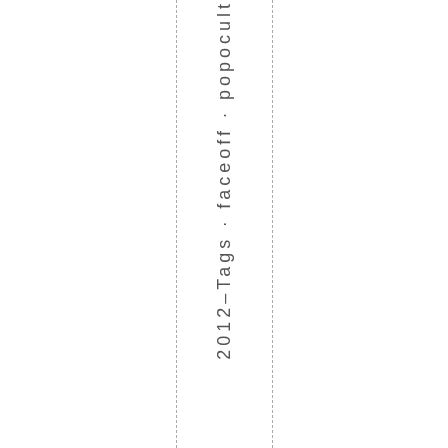2012–Tags · faceoff · popocult